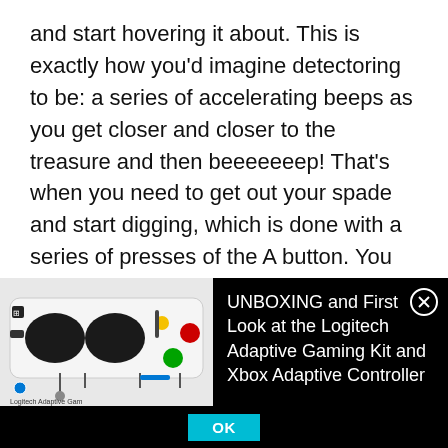and start hovering it about. This is exactly how you'd imagine detectoring to be: a series of accelerating beeps as you get closer and closer to the treasure and then beeeeeeep! That's when you need to get out your spade and start digging, which is done with a series of presses of the A button. You then have the treasure in your hand, and can inspect it.
[Figure (screenshot): Advertisement banner showing an image of the Logitech Adaptive Gaming Kit controller alongside the text 'UNBOXING and First Look at the Logitech Adaptive Gaming Kit and Xbox Adaptive Controller' with a close (X) button and an OK button at the bottom.]